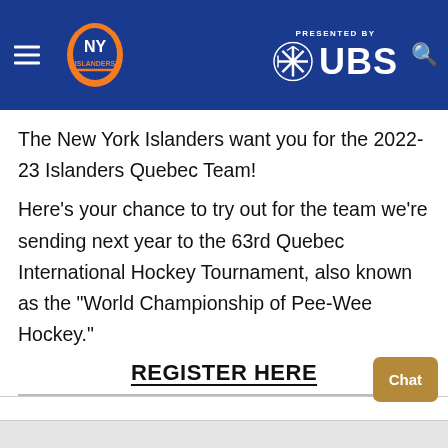NY Islanders — PRESENTED BY UBS
The New York Islanders want you for the 2022-23 Islanders Quebec Team!
Here's your chance to try out for the team we're sending next year to the 63rd Quebec International Hockey Tournament, also known as the "World Championship of Pee-Wee Hockey."
REGISTER HERE
View More
Chat